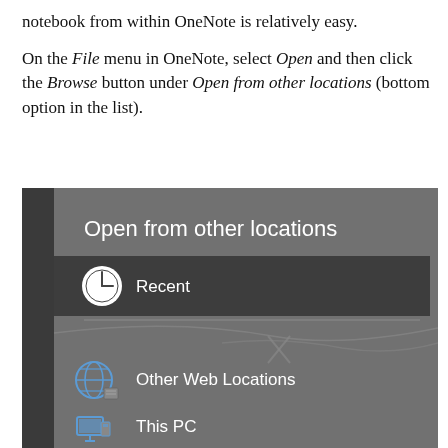notebook from within OneNote is relatively easy.

On the File menu in OneNote, select Open and then click the Browse button under Open from other locations (bottom option in the list).
[Figure (screenshot): Screenshot of OneNote 'Open from other locations' dialog showing Recent (highlighted), Other Web Locations, and This PC options with icons on a dark grey background.]